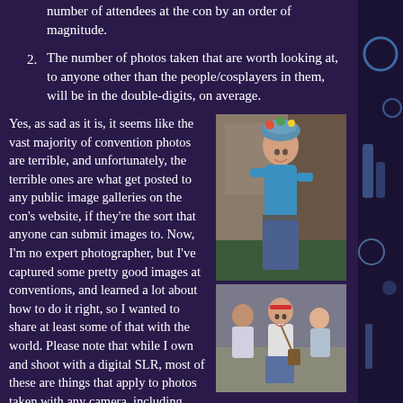number of attendees at the con by an order of magnitude.
2. The number of photos taken that are worth looking at, to anyone other than the people/cosplayers in them, will be in the double-digits, on average.
Yes, as sad as it is, it seems like the vast majority of convention photos are terrible, and unfortunately, the terrible ones are what get posted to any public image galleries on the con's website, if they're the sort that anyone can submit images to. Now, I'm no expert photographer, but I've captured some pretty good images at conventions, and learned a lot about how to do it right, so I wanted to share at least some of that with the world. Please note that while I own and shoot with a digital SLR, most of these are things that apply to photos taken with any camera, including cellphones.
[Figure (photo): A person in cosplay wearing a colorful knit hat, blue top, and jeans, posing at a convention.]
[Figure (photo): People at a convention, one person holding what appears to be a bag, in a crowded room.]
1. Use good photography techniques. I'm not sure why, but I've…